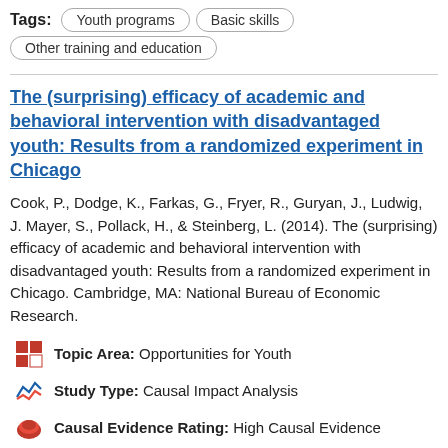Tags: Youth programs   Basic skills   Other training and education
The (surprising) efficacy of academic and behavioral intervention with disadvantaged youth: Results from a randomized experiment in Chicago
Cook, P., Dodge, K., Farkas, G., Fryer, R., Guryan, J., Ludwig, J. Mayer, S., Pollack, H., & Steinberg, L. (2014). The (surprising) efficacy of academic and behavioral intervention with disadvantaged youth: Results from a randomized experiment in Chicago. Cambridge, MA: National Bureau of Economic Research.
Topic Area: Opportunities for Youth
Study Type: Causal Impact Analysis
Causal Evidence Rating: High Causal Evidence
Outcome Effectiveness: